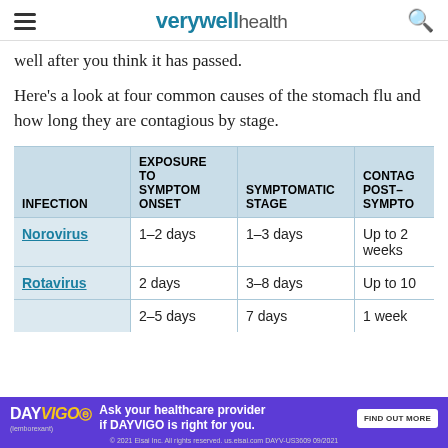verywell health
well after you think it has passed.
Here's a look at four common causes of the stomach flu and how long they are contagious by stage.
| INFECTION | EXPOSURE TO SYMPTOM ONSET | SYMPTOMATIC STAGE | CONTAGIOUS POST-SYMPTOMATIC |
| --- | --- | --- | --- |
| Norovirus | 1–2 days | 1–3 days | Up to 2 weeks |
| Rotavirus | 2 days | 3–8 days | Up to 10 days |
|  | 2–5 days | 7 days | 1 week |
[Figure (other): DAYVIGO advertisement banner: Ask your healthcare provider if DAYVIGO is right for you. FIND OUT MORE. © 2021 Eisai Inc. All rights reserved. us.eisai.com DAYV-US3609 09/2021]